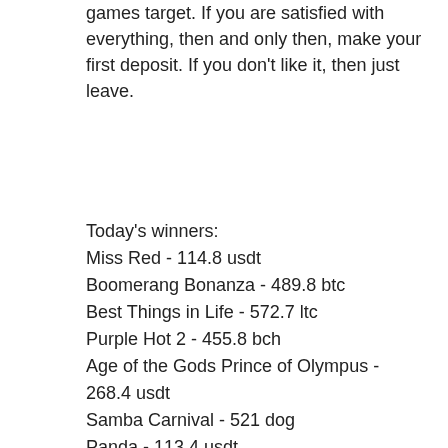games target. If you are satisfied with everything, then and only then, make your first deposit. If you don't like it, then just leave.
Today's winners:
Miss Red - 114.8 usdt
Boomerang Bonanza - 489.8 btc
Best Things in Life - 572.7 ltc
Purple Hot 2 - 455.8 bch
Age of the Gods Prince of Olympus - 268.4 usdt
Samba Carnival - 521 dog
Panda - 113.4 usdt
Lucky Zodiac - 47.1 dog
Mad Scientist - 30.3 btc
Burning Desire - 422.2 bch
Triple Diamond - 462.8 eth
Psychedelic Sixties - 77 bch
Wild Toro - 299.9 ltc
Fast Lane - 373 eth
Double Diamond - 491.3 ltc